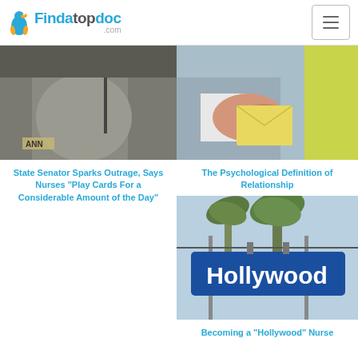Findatopdoc.com
[Figure (photo): Person at podium with microphone, appears to be a hearing or legislative session]
State Senator Sparks Outrage, Says Nurses “Play Cards For a Considerable Amount of the Day”
[Figure (photo): Close-up of hands exchanging an envelope or letter, one wearing a ring]
The Psychological Definition of Relationship
[Figure (photo): Hollywood street sign with palm trees in the background]
Becoming a “Hollywood” Nurse